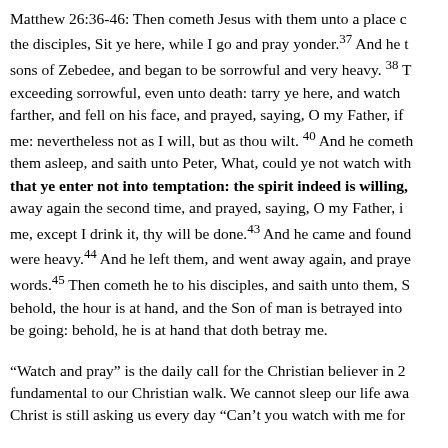Matthew 26:36-46: Then cometh Jesus with them unto a place c... the disciples, Sit ye here, while I go and pray yonder.37 And he t... sons of Zebedee, and began to be sorrowful and very heavy. 38 T... exceeding sorrowful, even unto death: tarry ye here, and watch ... farther, and fell on his face, and prayed, saying, O my Father, if ... me: nevertheless not as I will, but as thou wilt. 40 And he cometh... them asleep, and saith unto Peter, What, could ye not watch with... that ye enter not into temptation: the spirit indeed is willing,... away again the second time, and prayed, saying, O my Father, i... me, except I drink it, thy will be done.43 And he came and found... were heavy.44 And he left them, and went away again, and praye... words.45 Then cometh he to his disciples, and saith unto them, S... behold, the hour is at hand, and the Son of man is betrayed into ... be going: behold, he is at hand that doth betray me.
“Watch and pray” is the daily call for the Christian believer in 2... fundamental to our Christian walk. We cannot sleep our life awa... Christ is still asking us every day “Can’t you watch with me for ...